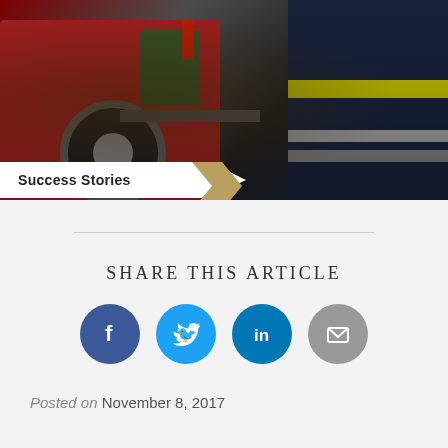[Figure (photo): Firefighter in dark uniform with yellow and grey reflective stripes standing next to a red fire truck, with equipment bags visible in the truck compartment.]
Success Stories
SHARE THIS ARTICLE
Posted on November 8, 2017